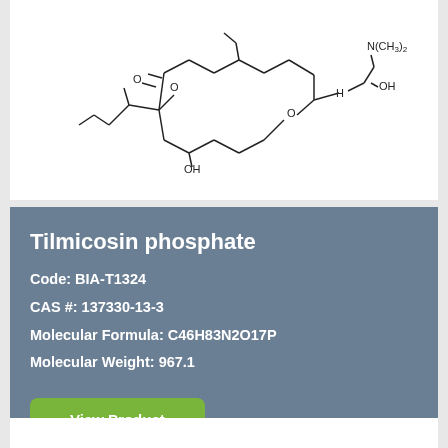[Figure (schematic): Chemical structure of Tilmicosin phosphate showing a macrolide ring with lactone group, hydroxyl groups, a mycaminose sugar with dimethylamino group N(CH3)2, and an OH group]
Tilmicosin phosphate
Code: BIA-T1324
CAS #: 137330-13-3
Molecular Formula: C46H83N2O17P
Molecular Weight: 967.1